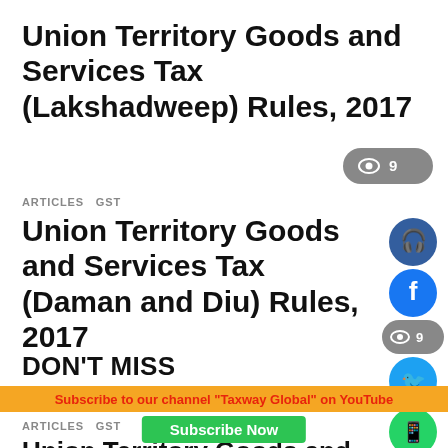Union Territory Goods and Services Tax (Lakshadweep) Rules, 2017
[Figure (infographic): Gray pill-shaped views badge showing eye icon and number 9]
ARTICLES  GST
Union Territory Goods and Services Tax (Daman and Diu) Rules, 2017
[Figure (infographic): Social media sharing icons column: podcast (dark blue), Facebook (blue), views badge (gray, 9), Twitter (light blue), WhatsApp (green), bell/notification (red), bell/notification (orange-red)]
ARTICLES  GST
Union Territory Goods and Services Tax (Dadra and Nagar Haveli) Rules, 2017
DON'T MISS
Subscribe to our channel "Taxway Global" on YouTube
Subscribe Now